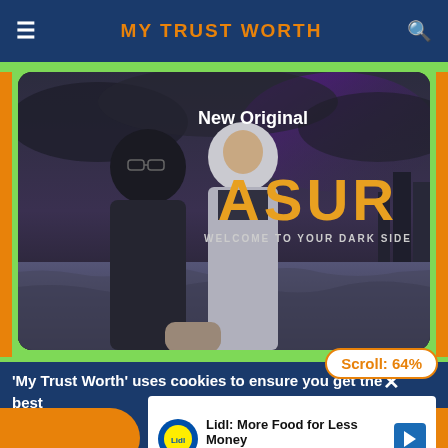MY TRUST WORTH
[Figure (screenshot): Movie/web series promotional image for 'ASUR: Welcome to Your Dark Side' marked as New Original, showing two men against dramatic dark sky background]
Scroll: 64%
'My Trust Worth' uses cookies to ensure you get the best experience
[Figure (infographic): Lidl advertisement: Lidl: More Food for Less Money - Lidl]
Lidl: More Food for Less Money
Lidl